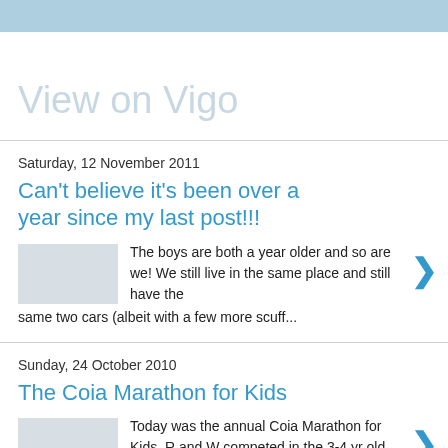View on Vigo
Saturday, 12 November 2011
Can't believe it's been over a year since my last post!!!
The boys are both a year older and so are we! We still live in the same place and still have the same two cars (albeit with a few more scuff...
Sunday, 24 October 2010
The Coia Marathon for Kids
Today was the annual Coia Marathon for Kids. R and W competed in the 3-4 yr old category. R was able to finish the demanding 200m course u...
2 comments